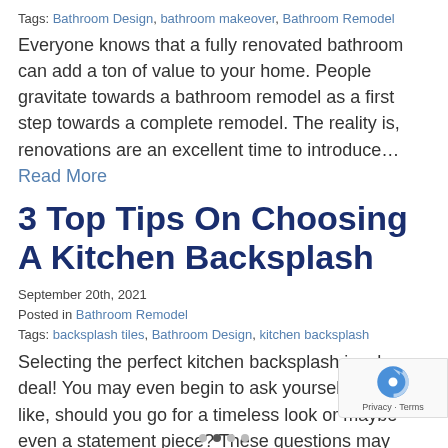Tags: Bathroom Design, bathroom makeover, Bathroom Remodel
Everyone knows that a fully renovated bathroom can add a ton of value to your home. People gravitate towards a bathroom remodel as a first step towards a complete remodel. The reality is, renovations are an excellent time to introduce… Read More
3 Top Tips On Choosing A Kitchen Backsplash
September 20th, 2021
Posted in Bathroom Remodel
Tags: backsplash tiles, Bathroom Design, kitchen backsplash
Selecting the perfect kitchen backsplash is a huge deal! You may even begin to ask yourself questions like, should you go for a timeless look or maybe even a statement piece? These questions may even star up until… Read More